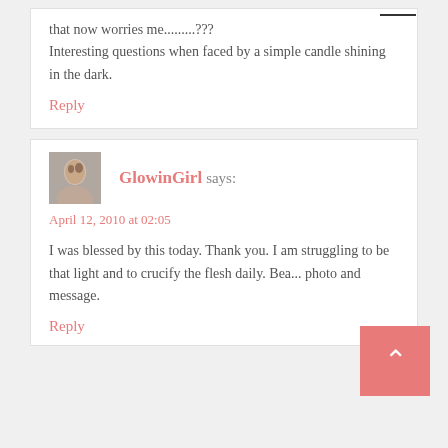that now worries me.........???
Interesting questions when faced by a simple candle shining in the dark.
Reply
GlowinGirl says:
April 12, 2010 at 02:05
I was blessed by this today. Thank you. I am struggling to be that light and to crucify the flesh daily. Bea... photo and message.
Reply